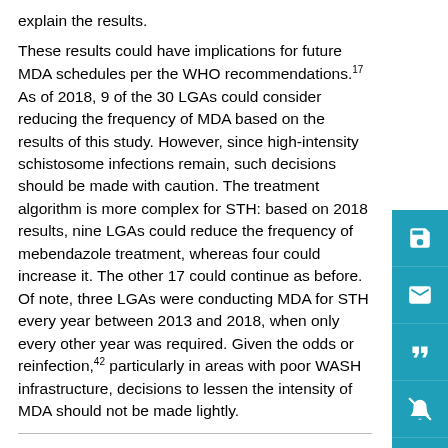explain the results.
These results could have implications for future MDA schedules per the WHO recommendations.17 As of 2018, 9 of the 30 LGAs could consider reducing the frequency of MDA based on the results of this study. However, since high-intensity schistosome infections remain, such decisions should be made with caution. The treatment algorithm is more complex for STH: based on 2018 results, nine LGAs could reduce the frequency of mebendazole treatment, whereas four could increase it. The other 17 could continue as before. Of note, three LGAs were conducting MDA for STH every year between 2013 and 2018, when only every other year was required. Given the odds or reinfection,42 particularly in areas with poor WASH infrastructure, decisions to lessen the intensity of MDA should not be made lightly.
CONCLUSION
Schistosomiasis and STH in Nasarawa and Plateau states of central Nigeria remain public health problems in this context despite progress achieved through MDA over the past decade.